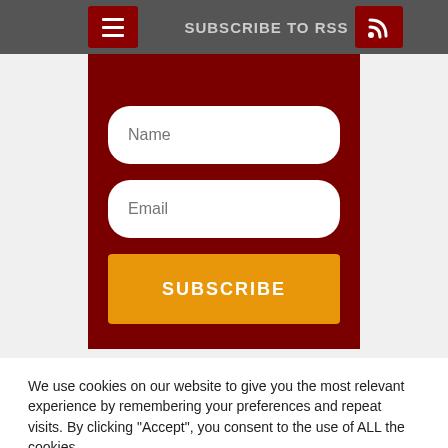SUBSCRIBE TO RSS
[Figure (screenshot): A subscription form with Name and Email input fields and an orange SUBSCRIBE button on a dark red background]
We use cookies on our website to give you the most relevant experience by remembering your preferences and repeat visits. By clicking "Accept", you consent to the use of ALL the cookies.
Cookie settings   ACCEPT